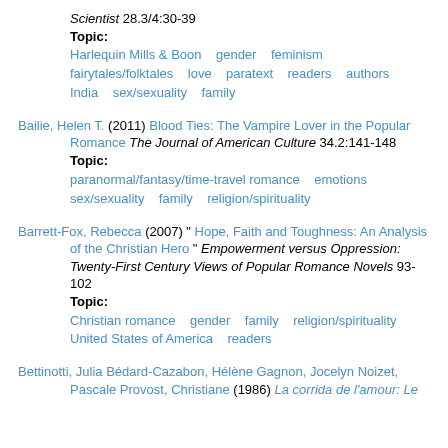Scientist 28.3/4:30-39
Topic:
Harlequin Mills & Boon   gender   feminism   fairytales/folktales   love   paratext   readers   authors   India   sex/sexuality   family
Bailie, Helen T. (2011) Blood Ties: The Vampire Lover in the Popular Romance The Journal of American Culture 34.2:141-148
Topic:
paranormal/fantasy/time-travel romance   emotions   sex/sexuality   family   religion/spirituality
Barrett-Fox, Rebecca (2007) " Hope, Faith and Toughness: An Analysis of the Christian Hero " Empowerment versus Oppression: Twenty-First Century Views of Popular Romance Novels 93-102
Topic:
Christian romance   gender   family   religion/spirituality   United States of America   readers
Bettinotti, Julia Bédard-Cazabon, Hélène Gagnon, Jocelyn Noizet, Pascale Provost, Christiane (1986) La corrida de l'amour: Le